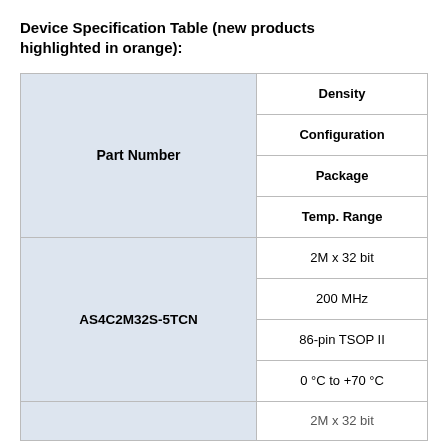Device Specification Table (new products highlighted in orange):
| Part Number | Density | Configuration | Package | Temp. Range |
| --- | --- | --- | --- | --- |
| AS4C2M32S-5TCN | 2M x 32 bit | 200 MHz | 86-pin TSOP II | 0 °C to +70 °C |
|  | 2M x 32 bit |  |  |  |